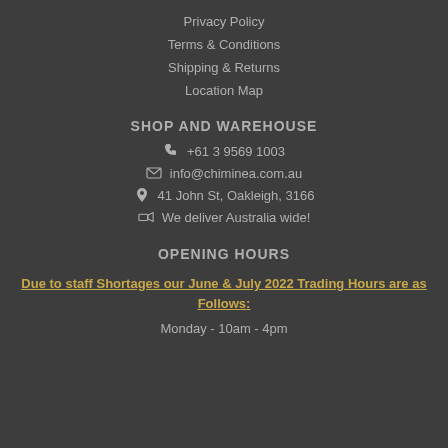Privacy Policy
Terms & Conditions
Shipping & Returns
Location Map
SHOP AND WAREHOUSE
+61 3 9569 1003
info@chiminea.com.au
41 John St, Oakleigh, 3166
We deliver Australia wide!
OPENING HOURS
Due to staff Shortages our June & July 2022 Trading Hours are as Follows:
Monday - 10am - 4pm